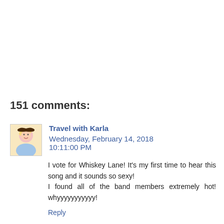151 comments:
Travel with Karla  Wednesday, February 14, 2018 10:11:00 PM
I vote for Whiskey Lane! It's my first time to hear this song and it sounds so sexy!
I found all of the band members extremely hot! whyyyyyyyyyyy!
Reply
Replies